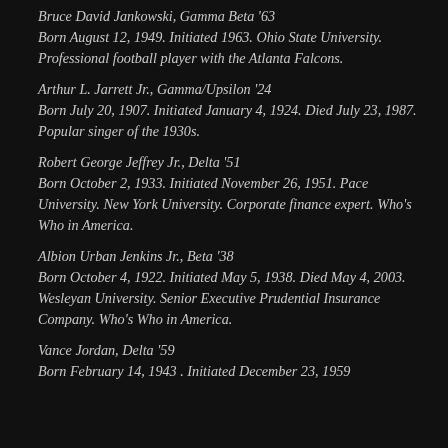Bruce David Jankowski, Gamma Beta '63
Born August 12, 1949. Initiated 1963. Ohio State University. Professional football player with the Atlanta Falcons.
Arthur L. Jarrett Jr., Gamma/Upsilon '24
Born July 20, 1907. Initiated January 4, 1924. Died July 23, 1987. Popular singer of the 1930s.
Robert George Jeffrey Jr., Delta '51
Born October 2, 1933. Initiated November 26, 1951. Pace University. New York University. Corporate finance expert. Who's Who in America.
Albion Urban Jenkins Jr., Beta '38
Born October 4, 1922. Initiated May 5, 1938. Died May 4, 2003. Wesleyan University. Senior Executive Prudential Insurance Company. Who's Who in America.
Vance Jordan, Delta '59
Born February 14, 1943 . Initiated December 23, 1959